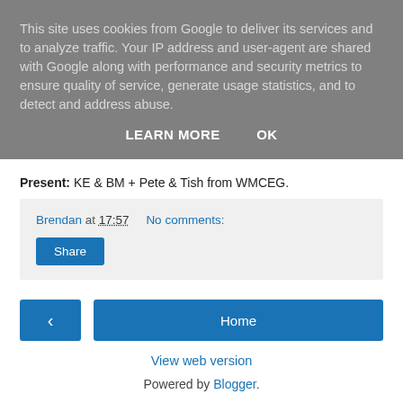This site uses cookies from Google to deliver its services and to analyze traffic. Your IP address and user-agent are shared with Google along with performance and security metrics to ensure quality of service, generate usage statistics, and to detect and address abuse.
LEARN MORE   OK
Present: KE & BM + Pete & Tish from WMCEG.
Brendan at 17:57   No comments:
Share
< Home
View web version
Powered by Blogger.